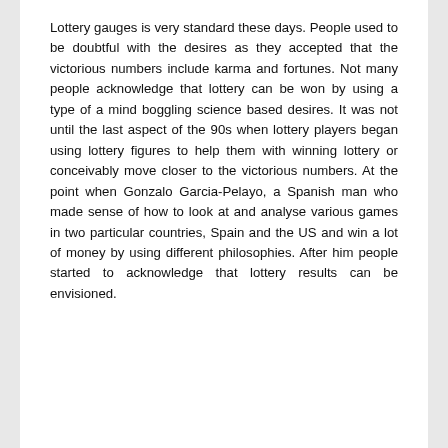Lottery gauges is very standard these days. People used to be doubtful with the desires as they accepted that the victorious numbers include karma and fortunes. Not many people acknowledge that lottery can be won by using a type of a mind boggling science based desires. It was not until the last aspect of the 90s when lottery players began using lottery figures to help them with winning lottery or conceivably move closer to the victorious numbers. At the point when Gonzalo Garcia-Pelayo, a Spanish man who made sense of how to look at and analyse various games in two particular countries, Spain and the US and win a lot of money by using different philosophies. After him people started to acknowledge that lottery results can be envisioned.